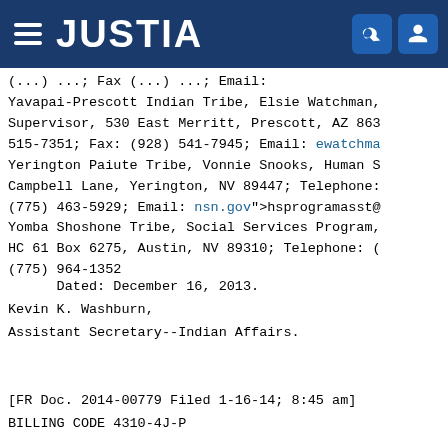JUSTIA
(...) ...; Fax (...) ...; Email: ...
Yavapai-Prescott Indian Tribe, Elsie Watchman, Supervisor, 530 East Merritt, Prescott, AZ 863... 515-7351; Fax: (928) 541-7945; Email: ewatchma...
Yerington Paiute Tribe, Vonnie Snooks, Human S... Campbell Lane, Yerington, NV 89447; Telephone: (775) 463-5929; Email: nsn.gov">hsprogramasst@...
Yomba Shoshone Tribe, Social Services Program, HC 61 Box 6275, Austin, NV 89310; Telephone: (775) 964-1352
Dated: December 16, 2013.
Kevin K. Washburn,
Assistant Secretary--Indian Affairs.
[FR Doc. 2014-00779 Filed 1-16-14; 8:45 am]
BILLING CODE 4310-4J-P